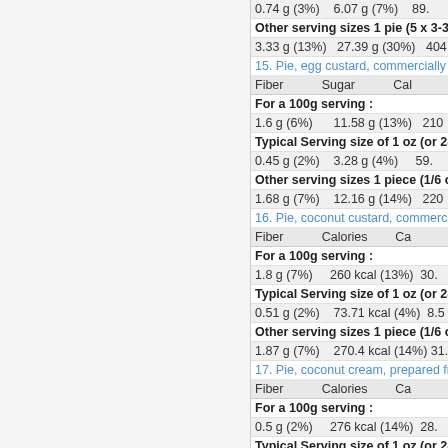0.74 g (3%)    6.07 g (7%)    89.
Other serving sizes 1 pie (5 x 3-3/4) (
3.33 g (13%)    27.39 g (30%)    404
15. Pie, egg custard, commercially prepa
Fiber    Sugar    Cal
For a 100g serving :
1.6 g (6%)    11.58 g (13%)    210
Typical Serving size of 1 oz (or 28.35
0.45 g (2%)    3.28 g (4%)    59.
Other serving sizes 1 piece (1/6 of 8 p
1.68 g (7%)    12.16 g (14%)    220
16. Pie, coconut custard, commercially p
Fiber    Calories    Ca
For a 100g serving :
1.8 g (7%)    260 kcal (13%)    30.
Typical Serving size of 1 oz (or 28.35
0.51 g (2%)    73.71 kcal (4%)    8.5
Other serving sizes 1 piece (1/6 of 8 p
1.87 g (7%)    270.4 kcal (14%)    31.
17. Pie, coconut cream, prepared from m
Fiber    Calories    Ca
For a 100g serving :
0.5 g (2%)    276 kcal (14%)    28.
Typical Serving size of 1 oz (or 28.35
0.14 g (1%)    78.25 kcal (4%)    8.0